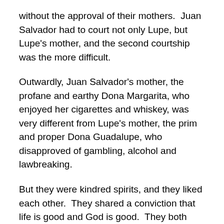without the approval of their mothers.  Juan Salvador had to court not only Lupe, but Lupe's mother, and the second courtship was the more difficult.
Outwardly, Juan Salvador's mother, the profane and earthy Dona Margarita, who enjoyed her cigarettes and whiskey, was very different from Lupe's mother, the prim and proper Dona Guadalupe, who disapproved of gambling, alcohol and lawbreaking.
But they were kindred spirits, and they liked each other.  They shared a conviction that life is good and God is good.  They both practiced personal religions, loosely based on Roman Catholicism, in which they conversed with God, Jesus and the Virgin Mary.
Without going into whether and in what sense these visions were real, I have to say they resulted in the